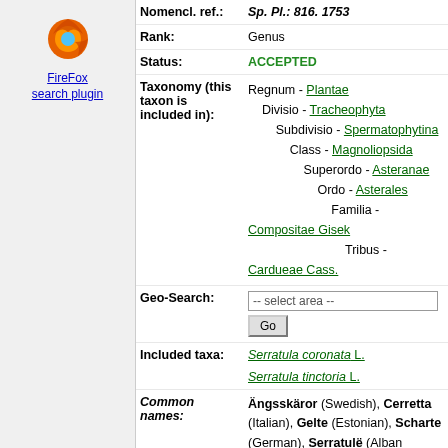[Figure (logo): Firefox browser logo icon]
FireFox search plugin
| Nomencl. ref.: | Sp. Pl.: 816. 1753 |
| Rank: | Genus |
| Status: | ACCEPTED |
| Taxonomy (this taxon is included in): | Regnum - Plantae / Divisio - Tracheophyta / Subdivisio - Spermatophytina / Class - Magnoliopsida / Superordo - Asteranae / Ordo - Asterales / Familia - Compositae Gise / Tribus - Cardueae Cass. |
| Geo-Search: | -- select area -- [Go button] |
| Included taxa: | Serratula coronata L. / Serratula tinctoria L. |
| Common names: | Ängsskäror (Swedish), Cerretta (Italian), Gelte (Estonian), Scharte (German), Serratulë (Albanian), (Polish), Zaagblad (Dutch), Zeltlape (Latvian), Гыфсәбәт (Azerbaijan), Серпій (Ukraine), Ce (Bulgarian), Մрδωμω (Armenian), وزخة (Arabic), (English), Մnngωч (Armenian)[Credits] |
| Maps: | distribution |
| Occurrence: | Ag Al Ar Au(A L) Be(B L) BH Br Bu By Cg Cs |